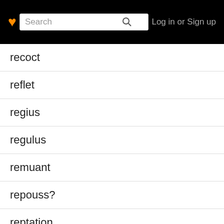Log in or Sign up
recoct
reflet
regius
regulus
remuant
repouss?
reptation
resorb
retrocede
rhapsodomancy